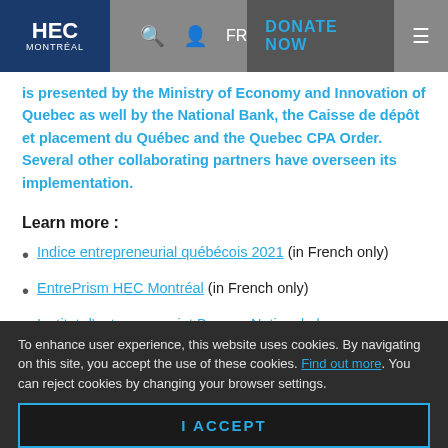HEC Montréal — navigation header with logo, search, user, FR, DONATE NOW, menu
is presented by the Ministry of Economy and Innovation of Quebec as well by the National Bank, the Caisse de dépôt et placement du Québec and the Quebec CPA Order. Several other collaborating partners have overseen its implementation.
Learn more :
Indice entrepreneurial québécois 2021 (in French only)
EntrePrism HEC Montréal (in French only)
Institut d'entrepreneuriat Banque Nationale | HEC Montréal (in French only)
To enhance user experience, this website uses cookies. By navigating on this site, you accept the use of these cookies. Find out more. You can reject cookies by changing your browser settings.
I ACCEPT